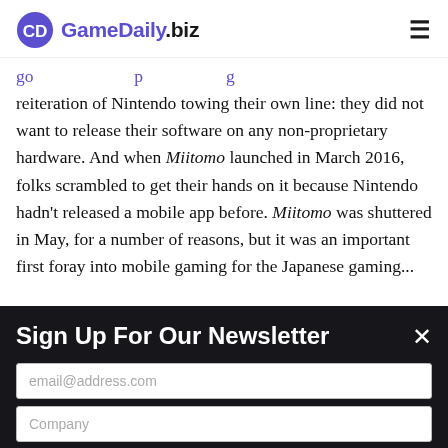GameDaily.biz
reiteration of Nintendo towing their own line: they did not want to release their software on any non-proprietary hardware. And when Miitomo launched in March 2016, folks scrambled to get their hands on it because Nintendo hadn't released a mobile app before. Miitomo was shuttered in May, for a number of reasons, but it was an important first foray into mobile gaming for the Japanese gaming...
Sign Up For Our Newsletter
email@address.com
Company
Job Title
Submit
...are the beginning of a...that is clearly aiming at...audience that the rest...mobile and...follows its non-elements. It's smart for The Pokemon Company and I...